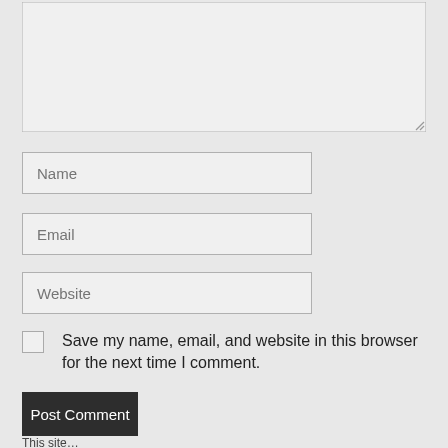[Figure (screenshot): A large empty textarea input box with a resize handle in the bottom-right corner, on a gray background.]
Name
Email
Website
Save my name, email, and website in this browser for the next time I comment.
Post Comment
This site…